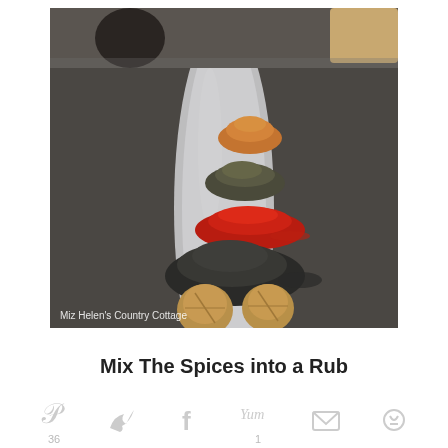[Figure (photo): A white elongated serving tray holding several piles of spices arranged in a line: a small mound of orange/cinnamon spice at the top, then dark green herbs, then bright red paprika/chili powder, then a large pile of black pepper, and two whole nutmegs at the bottom. The image has a watermark reading 'Miz Helen's Country Cottage'.]
Mix The Spices into a Rub
36  [Pinterest icon]  [Twitter icon]  [Facebook icon]  Yum 1  [Email icon]  [Print icon]